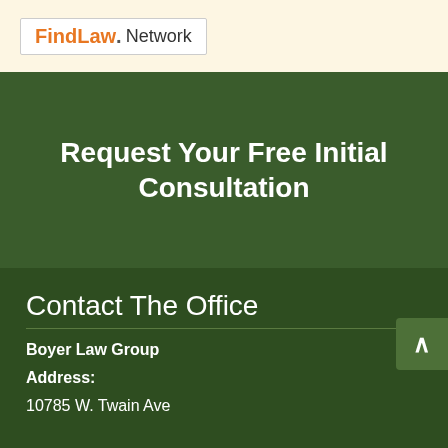[Figure (logo): FindLaw. Network logo in a white bordered box]
Request Your Free Initial Consultation
Contact The Office
Boyer Law Group
Address:
10785 W. Twain Ave